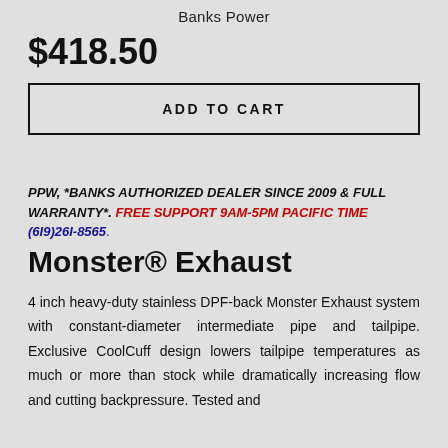Banks Power
$418.50
ADD TO CART
PPW, *BANKS AUTHORIZED DEALER SINCE 2009 & FULL WARRANTY*. FREE SUPPORT 9AM-5PM PACIFIC TIME (6I9)26I-8565.
Monster® Exhaust
4 inch heavy-duty stainless DPF-back Monster Exhaust system with constant-diameter intermediate pipe and tailpipe. Exclusive CoolCuff design lowers tailpipe temperatures as much or more than stock while dramatically increasing flow and cutting backpressure. Tested and